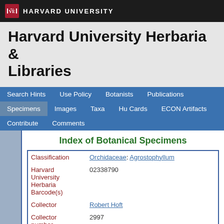HARVARD UNIVERSITY
Harvard University Herbaria & Libraries
Search Hints | Use Policy | Botanists | Publications | Specimens | Images | Taxa | Hu Cards | ECON Artifacts | Contribute | Comments
Index of Botanical Specimens
| Field | Value |
| --- | --- |
| Classification | Orchidaceae: Agrostophyllum |
| Harvard University Herbaria Barcode(s) | 02338790 |
| Collector | Robert Hoft |
| Collector number | 2997 |
| Country | Papua New Guinea |
| State | Morobe |